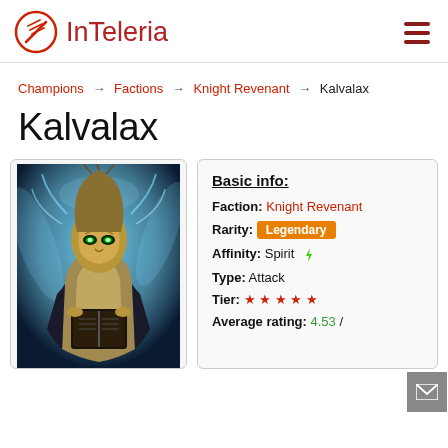InTeleria
Champions → Factions → Knight Revenant → Kalvalax
Kalvalax
[Figure (illustration): Champion portrait of Kalvalax — armored skeletal warrior with glowing green eyes, golden mask/armor, holding a tome, surrounded by blue ethereal energy]
Basic info:
Faction: Knight Revenant
Rarity: Legendary
Affinity: Spirit ⚡
Type: Attack
Tier: ★ ★ ★ ★ ★
Average rating: 4.53 /